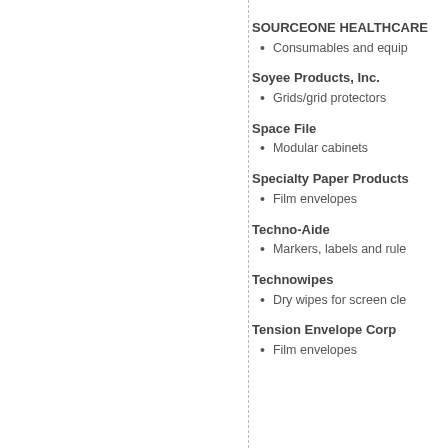SOURCEONE HEALTHCARE
Consumables and equip…
Soyee Products, Inc.
Grids/grid protectors
Space File
Modular cabinets
Specialty Paper Products
Film envelopes
Techno-Aide
Markers, labels and rule…
Technowipes
Dry wipes for screen cle…
Tension Envelope Corp
Film envelopes